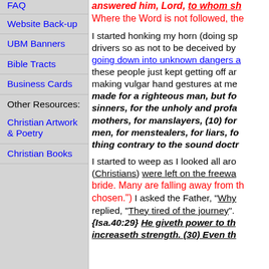FAQ
Website Back-up
UBM Banners
Bible Tracts
Business Cards
Other Resources:
Christian Artwork & Poetry
Christian Books
answered him, Lord, to whom sh Where the Word is not followed, the I started honking my horn (doing sp drivers so as not to be deceived by going down into unknown dangers a these people just kept getting off ar making vulgar hand gestures at me made for a righteous man, but fo sinners, for the unholy and profa mothers, for manslayers, (10) for men, for menstealers, for liars, fo thing contrary to the sound doctr I started to weep as I looked all aro (Christians) were left on the freewa bride. Many are falling away from th chosen.") I asked the Father, "Why replied, "They tired of the journey". {Isa.40:29} He giveth power to th increaseth strength. (30) Even th